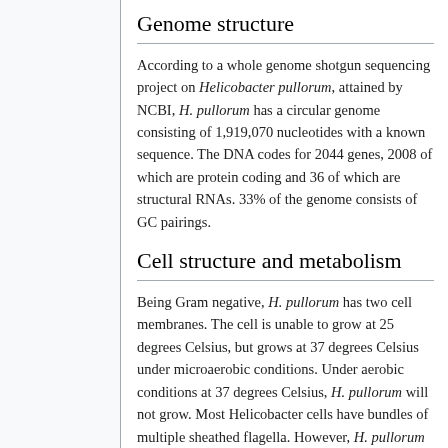Genome structure
According to a whole genome shotgun sequencing project on Helicobacter pullorum, attained by NCBI, H. pullorum has a circular genome consisting of 1,919,070 nucleotides with a known sequence. The DNA codes for 2044 genes, 2008 of which are protein coding and 36 of which are structural RNAs. 33% of the genome consists of GC pairings.
Cell structure and metabolism
Being Gram negative, H. pullorum has two cell membranes. The cell is unable to grow at 25 degrees Celsius, but grows at 37 degrees Celsius under microaerobic conditions. Under aerobic conditions at 37 degrees Celsius, H. pullorum will not grow. Most Helicobacter cells have bundles of multiple sheathed flagella. However, H. pullorum has one single flagellum that is nonsheathed, as seen in Figure 1. H. pullorum produces catalase, reduces nitrates,